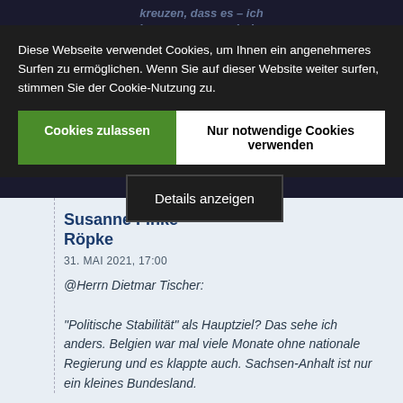[Figure (screenshot): Background article page in dark theme with partially visible italic German text about political stability and CDU]
Diese Webseite verwendet Cookies, um Ihnen ein angenehmeres Surfen zu ermöglichen. Wenn Sie auf dieser Website weiter surfen, stimmen Sie der Cookie-Nutzung zu.
Cookies zulassen
Nur notwendige Cookies verwenden
Details anzeigen
Susanne Finke-Röpke
31. MAI 2021, 17:00
@Herrn Dietmar Tischer:

"Politische Stabilität" als Hauptziel? Das sehe ich anders. Belgien war mal viele Monate ohne nationale Regierung und es klappte auch. Sachsen-Anhalt ist nur ein kleines Bundesland.